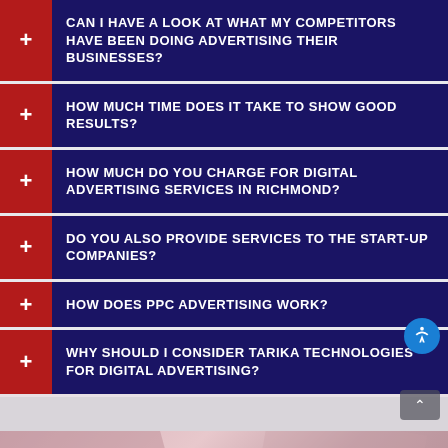CAN I HAVE A LOOK AT WHAT MY COMPETITORS HAVE BEEN DOING ADVERTISING THEIR BUSINESSES?
HOW MUCH TIME DOES IT TAKE TO SHOW GOOD RESULTS?
HOW MUCH DO YOU CHARGE FOR DIGITAL ADVERTISING SERVICES IN RICHMOND?
DO YOU ALSO PROVIDE SERVICES TO THE START-UP COMPANIES?
HOW DOES PPC ADVERTISING WORK?
WHY SHOULD I CONSIDER TARIKA TECHNOLOGIES FOR DIGITAL ADVERTISING?